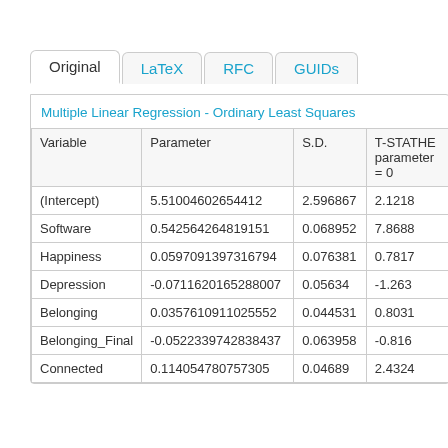[Figure (screenshot): Tab bar with tabs: Original (active), LaTeX, RFC, GUIDs]
| Variable | Parameter | S.D. | T-STATHE parameter = 0 |
| --- | --- | --- | --- |
| (Intercept) | 5.51004602654412 | 2.596867 | 2.1218 |
| Software | 0.542564264819151 | 0.068952 | 7.8688 |
| Happiness | 0.0597091397316794 | 0.076381 | 0.7817 |
| Depression | -0.0711620165288007 | 0.05634 | -1.263 |
| Belonging | 0.0357610911025552 | 0.044531 | 0.8031 |
| Belonging_Final | -0.0522339742838437 | 0.063958 | -0.816 |
| Connected | 0.114054780757305 | 0.04689 | 2.4324 |